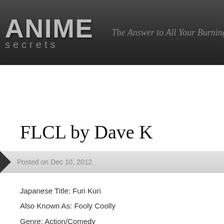[Figure (screenshot): Anime Secrets website header with logo showing 'ANIME secrets' in large grey letters, a vertical divider, and italic tagline 'The Answer to All Your Burning Que...' on a dark grey gradient background]
Home | Reviews » | Columns » | Conventions » | Anime
FLCL by Dave K
Posted on Dec 10, 2012
Japanese Title: Furi Kuri
Also Known As: Fooly Coolly
Genre: Action/Comedy